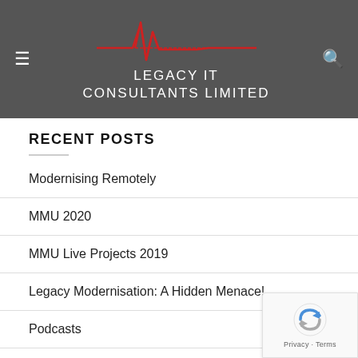LEGACY IT CONSULTANTS LIMITED
RECENT POSTS
Modernising Remotely
MMU 2020
MMU Live Projects 2019
Legacy Modernisation: A Hidden Menace!
Podcasts
CATEGORIES
Assembler
[Figure (logo): reCAPTCHA badge with Google logo — Privacy - Terms]